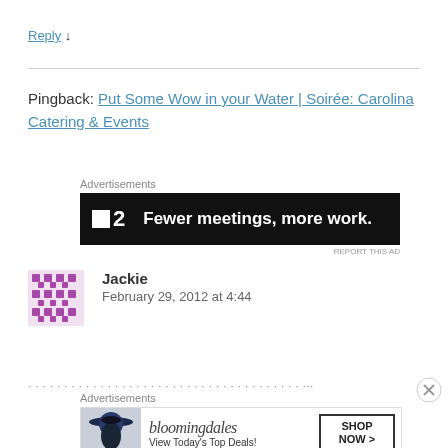Reply ↓
Pingback: Put Some Wow in your Water | Soirée: Carolina Catering & Events
[Figure (screenshot): Advertisement banner: dark background with P2 logo and text 'Fewer meetings, more work.']
Jackie
February 29, 2012 at 4:44
[Figure (screenshot): Bloomingdale's advertisement: 'View Today's Top Deals!' with SHOP NOW button and woman in hat image]